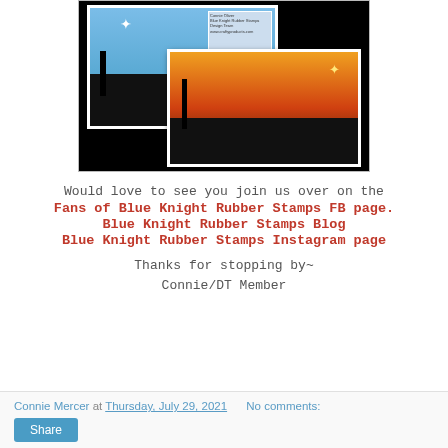[Figure (photo): Two handmade greeting cards featuring silhouettes of the Three Wise Men with palm trees against colorful sunset/night sky backgrounds, displayed against a black background.]
Would love to see you join us over on the
Fans of Blue Knight Rubber Stamps FB page.
Blue Knight Rubber Stamps Blog
Blue Knight Rubber Stamps Instagram page
Thanks for stopping by~
Connie/DT Member
Connie Mercer at Thursday, July 29, 2021    No comments:
Share